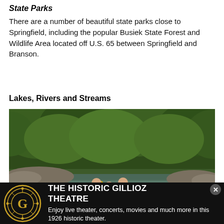State Parks
There are a number of beautiful state parks close to Springfield, including the popular Busiek State Forest and Wildlife Area located off U.S. 65 between Springfield and Branson.
Lakes, Rivers and Streams
[Figure (photo): Three people (two adults and a child) paddling a green canoe on a river surrounded by green trees and rocky banks.]
[Figure (infographic): Advertisement banner for The Historic Gillioz Theatre with a gold circular logo on black background. Text reads: THE HISTORIC GILLIOZ THEATRE. Enjoy live theater, concerts, movies and much more in this 1926 historic theater.]